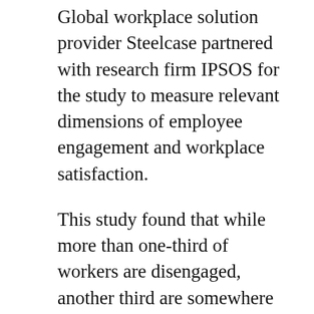Global workplace solution provider Steelcase partnered with research firm IPSOS for the study to measure relevant dimensions of employee engagement and workplace satisfaction.
This study found that while more than one-third of workers are disengaged, another third are somewhere in the middle, not working against their companies, but not driving better business results either.
“When workers become disengaged, it costs companies money, slows projects, drains resources and undermines company goals, as well as the efforts of their engaged counterparts. This is why employee is one of